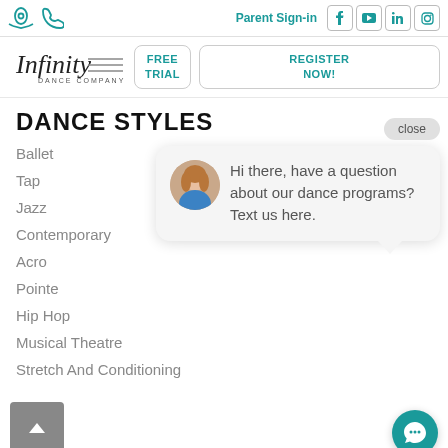Parent Sign-in | Social icons: Facebook, YouTube, LinkedIn, Instagram
[Figure (logo): Infinity Dance Company logo with stylized italic script text and horizontal lines]
FREE TRIAL
REGISTER NOW!
DANCE STYLES
Ballet
Tap
Jazz
Contemporary
Acro
Pointe
Hip Hop
Musical Theatre
Stretch And Conditioning
[Figure (screenshot): Chat widget overlay showing a photo of a woman and the message: Hi there, have a question about our dance programs? Text us here. With a close button and chat bubble tail.]